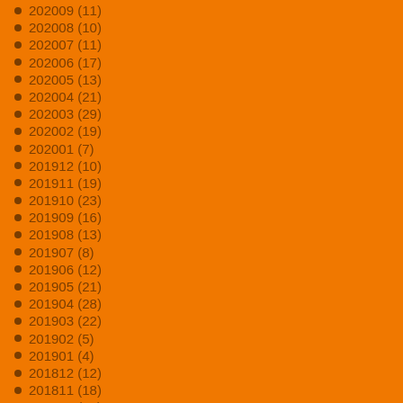202009 (11)
202008 (10)
202007 (11)
202006 (17)
202005 (13)
202004 (21)
202003 (29)
202002 (19)
202001 (7)
201912 (10)
201911 (19)
201910 (23)
201909 (16)
201908 (13)
201907 (8)
201906 (12)
201905 (21)
201904 (28)
201903 (22)
201902 (5)
201901 (4)
201812 (12)
201811 (18)
201810 (17)
201809 (16)
201808 (19)
201807 (15)